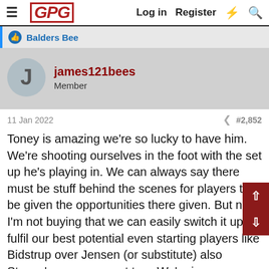GPG  Log in  Register
Balders Bee
james121bees
Member
11 Jan 2022   #2,852
Toney is amazing we're so lucky to have him. We're shooting ourselves in the foot with the set up he's playing in. We can always say there must be stuff behind the scenes for players to be given the opportunities there given. But na I'm not buying that we can easily switch it up to fulfil our best potential even starting players like Bidstrup over Jensen (or substitute) also Steven's over canos at two. We're in an amazing moment in time it's no toys thrown out of the pram from me but from what I've seen Bidstrup & Steven's should be more involved we've got nothing to lose